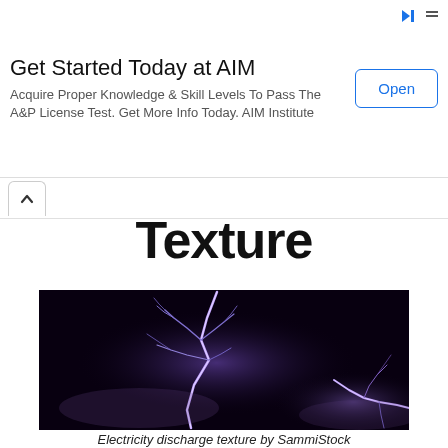Get Started Today at AIM
Acquire Proper Knowledge & Skill Levels To Pass The A&P License Test. Get More Info Today. AIM Institute
Texture
[Figure (photo): Lightning discharge texture photograph showing branching electric bolts against a dark purple-black night sky. Two main lightning strikes visible with branching patterns. Photo by SammiStock.]
Electricity discharge texture by SammiStock